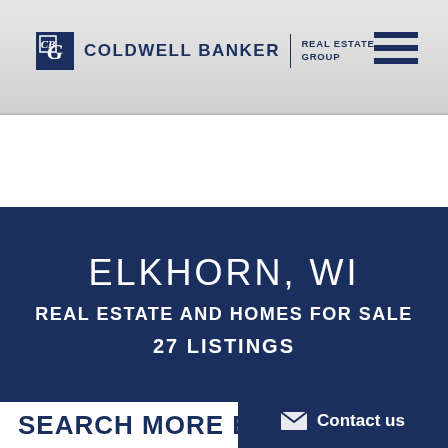COLDWELL BANKER | REAL ESTATE GROUP
ELKHORN, WI
REAL ESTATE AND HOMES FOR SALE
27 LISTINGS
Featured Homes / Real Estate Information / Property Search / Demographics
SEARCH MORE ELKH...
Contact us